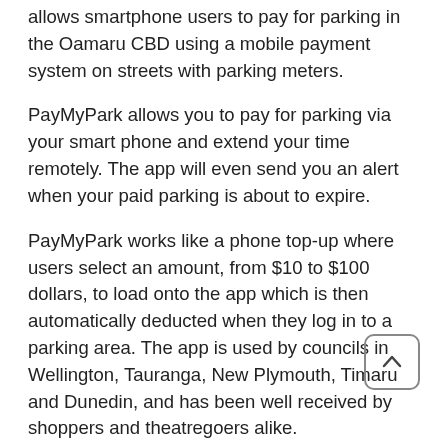allows smartphone users to pay for parking in the Oamaru CBD using a mobile payment system on streets with parking meters.
PayMyPark allows you to pay for parking via your smart phone and extend your time remotely. The app will even send you an alert when your paid parking is about to expire.
PayMyPark works like a phone top-up where users select an amount, from $10 to $100 dollars, to load onto the app which is then automatically deducted when they log in to a parking area. The app is used by councils in Wellington, Tauranga, New Plymouth, Timaru and Dunedin, and has been well received by shoppers and theatregoers alike.
Download the free app from the iTunes Apple Store or Google Play